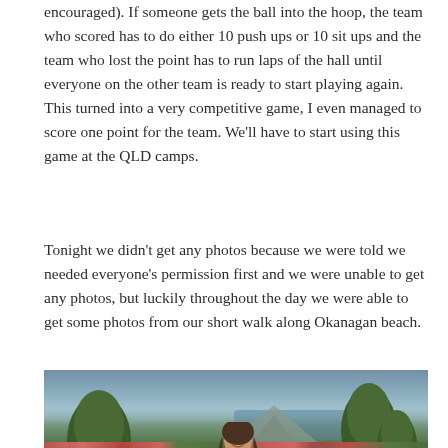encouraged). If someone gets the ball into the hoop, the team who scored has to do either 10 push ups or 10 sit ups and the team who lost the point has to run laps of the hall until everyone on the other team is ready to start playing again. This turned into a very competitive game, I even managed to score one point for the team. We'll have to start using this game at the QLD camps.
Tonight we didn't get any photos because we were told we needed everyone's permission first and we were unable to get any photos, but luckily throughout the day we were able to get some photos from our short walk along Okanagan beach.
[Figure (photo): Outdoor photo at Okanagan beach park showing a smiling person with curly hair in the foreground, large green trees on the left and right, a mountain and body of water in the background, under a partly cloudy sky, with flower beds at the bottom.]